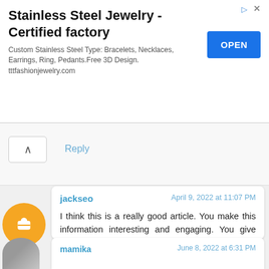[Figure (other): Advertisement banner for Stainless Steel Jewelry - Certified factory with OPEN button]
Reply
[Figure (other): Orange blogger avatar icon]
jackseo
April 9, 2022 at 11:07 PM
I think this is a really good article. You make this information interesting and engaging. You give readers a lot to think about and I appreciate that kind of writing. https://www.jpost.com/promocontent/golden-revive-plus-reviews-urgent-update-do-not-spend-a-dime-until-you-read-this-703156
Reply
mamika
June 8, 2022 at 6:31 PM